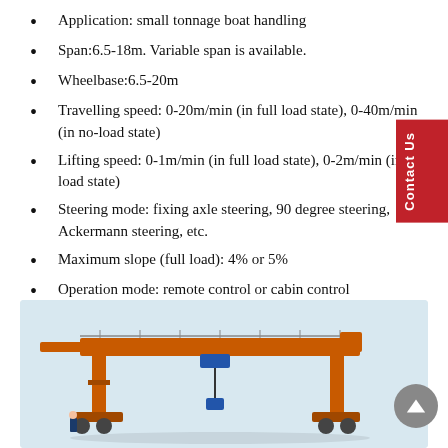Application: small tonnage boat handling
Span:6.5-18m. Variable span is available.
Wheelbase:6.5-20m
Travelling speed: 0-20m/min (in full load state), 0-40m/min (in no-load state)
Lifting speed: 0-1m/min (in full load state), 0-2m/min (in no-load state)
Steering mode: fixing axle steering, 90 degree steering, Ackermann steering, etc.
Maximum slope (full load): 4% or 5%
Operation mode: remote control or cabin control
Note: each parameter can be customized according to your specific requirements.
[Figure (photo): Orange gantry crane / boat handling crane photographed against a light sky background]